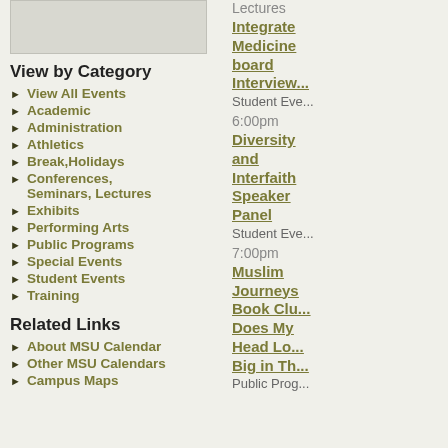[Figure (other): Gray placeholder box in upper left]
View by Category
View All Events
Academic
Administration
Athletics
Break,Holidays
Conferences, Seminars, Lectures
Exhibits
Performing Arts
Public Programs
Special Events
Student Events
Training
Related Links
About MSU Calendar
Other MSU Calendars
Campus Maps
Lectures
Integrated Medicine board Interview
Student Eve...
6:00pm
Diversity and Interfaith Speaker Panel
Student Eve...
7:00pm
Muslim Journeys Book Club Does My Head Loc... Big in Th...
Public Prog...